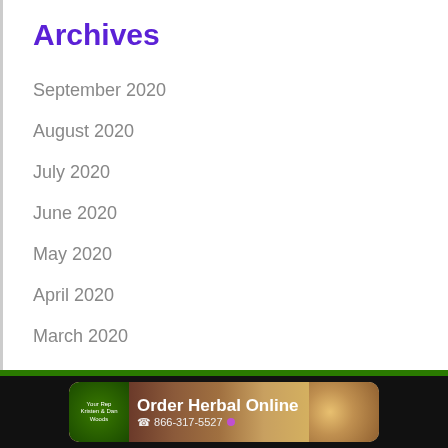Archives
September 2020
August 2020
July 2020
June 2020
May 2020
April 2020
March 2020
February 2020
[Figure (infographic): Advertisement banner for Order Herbal Online with phone number 866-317-5527, green circular logo with text 'Your Rep Kristen & Dan Woods', on dark background]